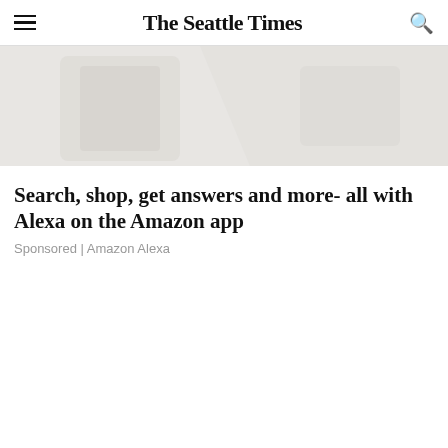The Seattle Times
[Figure (photo): Partial image of a device or Amazon product, light grey/beige tones, cropped at top]
Search, shop, get answers and more- all with Alexa on the Amazon app
Sponsored | Amazon Alexa